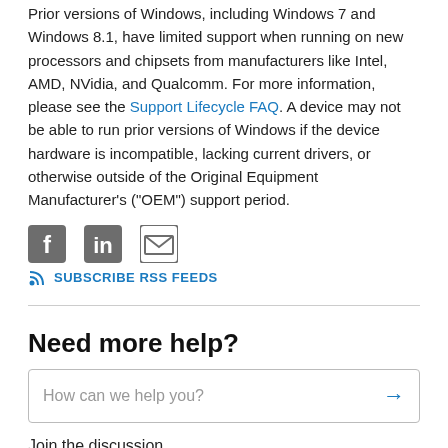Prior versions of Windows, including Windows 7 and Windows 8.1, have limited support when running on new processors and chipsets from manufacturers like Intel, AMD, NVidia, and Qualcomm. For more information, please see the Support Lifecycle FAQ. A device may not be able to run prior versions of Windows if the device hardware is incompatible, lacking current drivers, or otherwise outside of the Original Equipment Manufacturer’s (“OEM”) support period.
[Figure (infographic): Social sharing icons: Facebook, LinkedIn, Email]
SUBSCRIBE RSS FEEDS
Need more help?
How can we help you?
Join the discussion